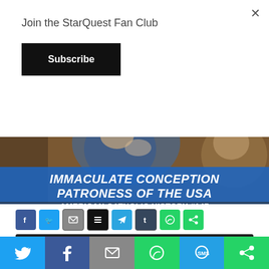Join the StarQuest Fan Club
Subscribe
[Figure (illustration): Podcast banner image showing a classical painting of a figure in blue robes with the title 'Immaculate Conception Patroness of the USA' and subtitle 'American Catholic History #147']
[Figure (infographic): Social share icon buttons: Facebook, Twitter, Email, Buffer, Telegram, Tumblr, WhatsApp, ShareThis]
[Figure (infographic): Audio player with play button, timecode 00:00, progress bar, and end time 00:00]
Podcast: Download
[Figure (infographic): Bottom share bar with Twitter, Facebook, Email, WhatsApp, SMS, and ShareThis buttons]